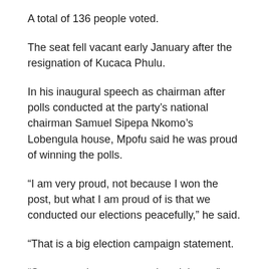A total of 136 people voted.
The seat fell vacant early January after the resignation of Kucaca Phulu.
In his inaugural speech as chairman after polls conducted at the party's national chairman Samuel Sipepa Nkomo's Lobengula house, Mpofu said he was proud of winning the polls.
“I am very proud, not because I won the post, but what I am proud of is that we conducted our elections peacefully,” he said.
“That is a big election campaign statement.
“Some people were expecting violence.”